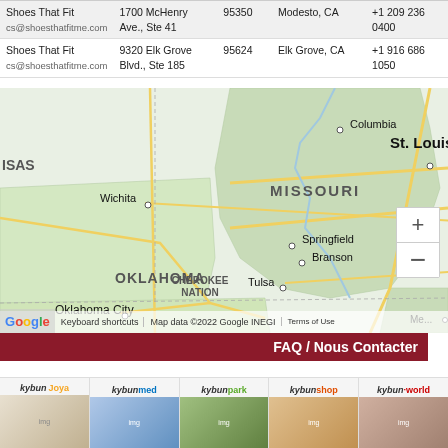| Name | Address | ZIP | City | Phone |
| --- | --- | --- | --- | --- |
| Shoes That Fit | 1700 McHenry Ave., Ste 41 | 95350 | Modesto, CA | +1 209 236 0400 |
| cs@shoesthatfitme.com |  |  |  |  |
| Shoes That Fit | 9320 Elk Grove Blvd., Ste 185 | 95624 | Elk Grove, CA | +1 916 686 1050 |
| cs@shoesthatfitme.com |  |  |  |  |
[Figure (map): Google Maps showing Missouri, Oklahoma, Kansas area with cities: Columbia, St. Louis, Springfield, Branson, Wichita, Tulsa, Oklahoma City, Cherokee Nation. Map data ©2022 Google INEGI.]
FAQ / Nous Contacter
[Figure (infographic): Footer navigation bar with brand logos: kybun/Joya, kybunmed, kybunpark, kybunshop, kybun·world — each with a thumbnail image.]